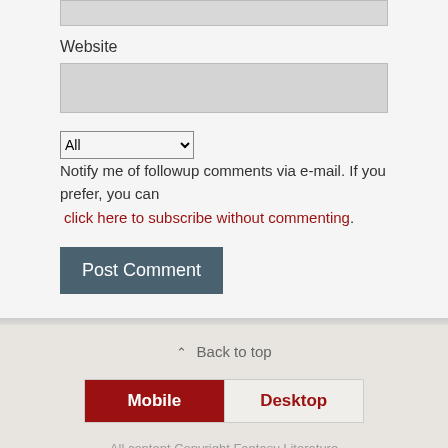Website
Notify me of followup comments via e-mail. If you prefer, you can click here to subscribe without commenting.
Post Comment
Back to top
Mobile | Desktop
All content Copyright Fantasy Literature
[Figure (infographic): Social media icon buttons: Twitter, Facebook, Google+, Tumblr, RSS — circular dark red outlined icons]
[Figure (illustration): Circular blue-grey scroll-to-top button with upward arrow]